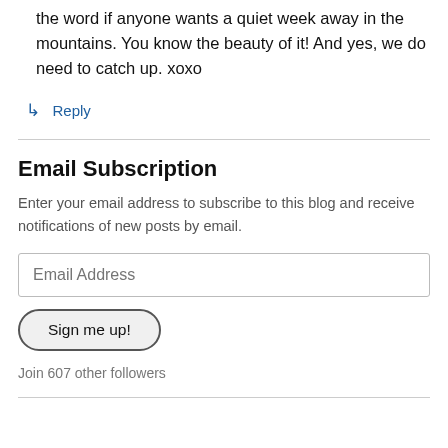the word if anyone wants a quiet week away in the mountains. You know the beauty of it! And yes, we do need to catch up. xoxo
↳ Reply
Email Subscription
Enter your email address to subscribe to this blog and receive notifications of new posts by email.
Email Address
Sign me up!
Join 607 other followers